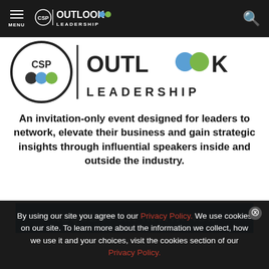MENU | CSP OUTLOOK LEADERSHIP
[Figure (logo): CSP Outlook Leadership logo — large version of the brand mark with colorful dots and 'LEADERSHIP' text]
An invitation-only event designed for leaders to network, elevate their business and gain strategic insights through influential speakers inside and outside the industry.
REQUEST AN INVITATION
By using our site you agree to our Privacy Policy. We use cookies on our site. To learn more about the information we collect, how we use it and your choices, visit the cookies section of our Privacy Policy.